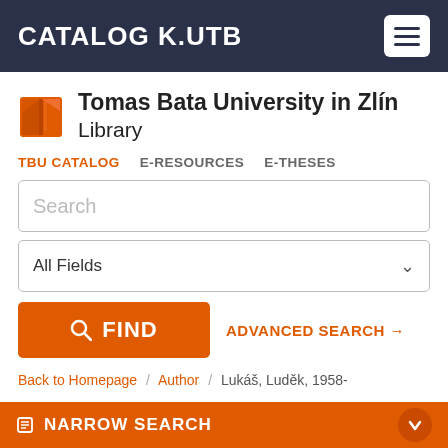CATALOG K.UTB
[Figure (logo): Tomas Bata University in Zlín Library logo — orange open book icon]
Tomas Bata University in Zlín Library
TBU CATALOG  E-RESOURCES  E-THESES
Search (input field placeholder)
All Fields (dropdown)
FIND  ADVANCED SEARCH →
Back to Homepage / Author / Lukáš, Luděk, 1958-
NARROW SEARCH